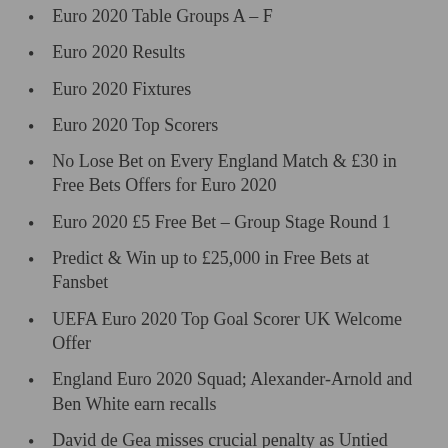Euro 2020 Table Groups A – F
Euro 2020 Results
Euro 2020 Fixtures
Euro 2020 Top Scorers
No Lose Bet on Every England Match & £30 in Free Bets Offers for Euro 2020
Euro 2020 £5 Free Bet – Group Stage Round 1
Predict & Win up to £25,000 in Free Bets at Fansbet
UEFA Euro 2020 Top Goal Scorer UK Welcome Offer
England Euro 2020 Squad; Alexander-Arnold and Ben White earn recalls
David de Gea misses crucial penalty as Untied